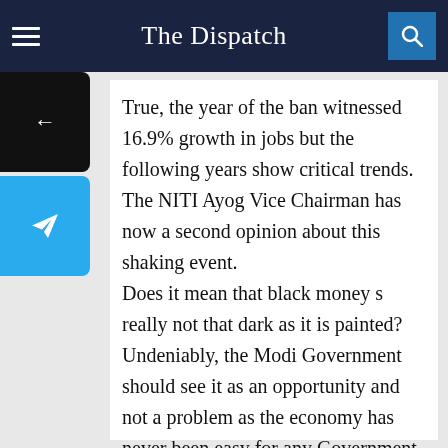The Dispatch
True, the year of the ban witnessed 16.9% growth in jobs but the following years show critical trends. The NITI Ayog Vice Chairman has now a second opinion about this shaking event.
Does it mean that black money s really not that dark as it is painted?
Undeniably, the Modi Government should see it as an opportunity and not a problem as the economy has never been easy for any Government to understand.